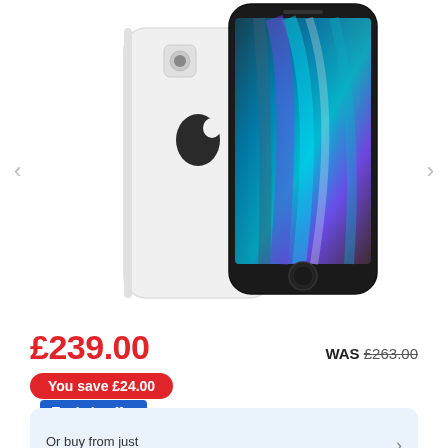[Figure (photo): Two Apple iPhone SE (white) smartphones shown from the back and front, displaying a colorful abstract wallpaper on the screen]
£239.00
WAS £263.00
You save £24.00
Trade-in offer
Or buy from just
£108.00